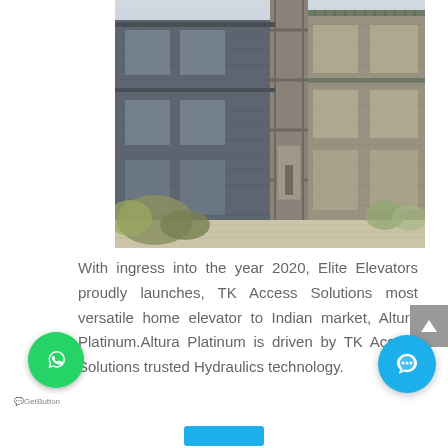[Figure (photo): Exterior rendering of a modern multi-story brick building with an external elevator/lift shaft visible, balconies with railings, surrounded by landscaping and a paved walkway.]
With ingress into the year 2020, Elite Elevators proudly launches, TK Access Solutions most versatile home elevator to Indian market, Altura Platinum.Altura Platinum is driven by TK Access Solutions trusted Hydraulics technology.